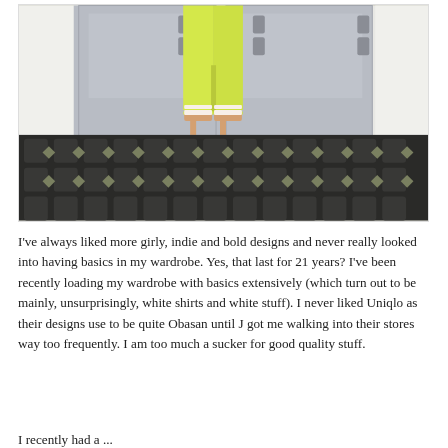[Figure (photo): Photo of a person's lower body wearing lime/neon yellow skinny jeans and white strappy heeled sandals, standing in front of grey double doors on a black and green geometric patterned tile floor.]
I've always liked more girly, indie and bold designs and never really looked into having basics in my wardrobe. Yes, that last for 21 years? I've been recently loading my wardrobe with basics extensively (which turn out to be mainly, unsurprisingly, white shirts and white stuff). I never liked Uniqlo as their designs use to be quite Obasan until J got me walking into their stores way too frequently. I am too much a sucker for good quality stuff.
I recently had a ...